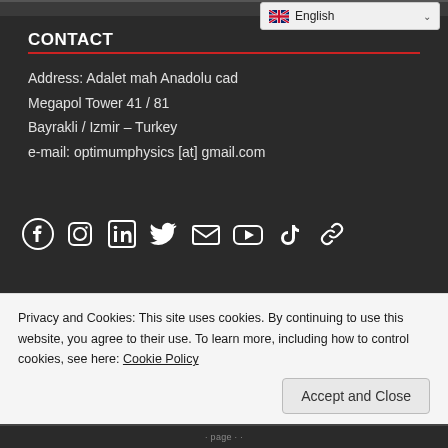[Figure (screenshot): English language selector dropdown in top right, showing UK flag and 'English' text with chevron]
CONTACT
Address: Adalet mah Anadolu cad
Megapol Tower 41 / 81
Bayrakli / Izmir – Turkey
e-mail: optimumphysics [at] gmail.com
[Figure (infographic): Row of social media icons: Facebook, Instagram, LinkedIn, Twitter, Email, YouTube, TikTok, Link]
BECOME A FREE EMAIL SUBSCRIBER!
[Figure (screenshot): Email subscription form with input field and red SUBSCRIBE button]
Privacy and Cookies: This site uses cookies. By continuing to use this website, you agree to their use. To learn more, including how to control cookies, see here: Cookie Policy
Accept and Close